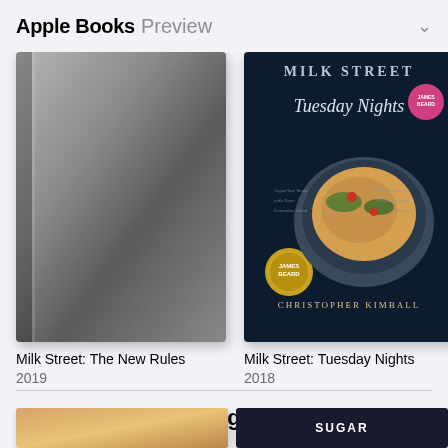Apple Books Preview
[Figure (photo): Book cover for Milk Street: The New Rules - gray gradient cover]
Milk Street: The New Rules
2019
[Figure (photo): Book cover for Milk Street: Tuesday Nights - dark navy blue with pasta dish, by Christopher Kimball, 2018]
Milk Street: Tuesday Nights
2018
[Figure (photo): Partial book cover (third book, cropped)]
Th
Sh
201
Customers Also Bought
See All
[Figure (photo): Partial book cover at bottom left - warm tones food book]
[Figure (photo): Partial book cover at bottom right - dark cover]